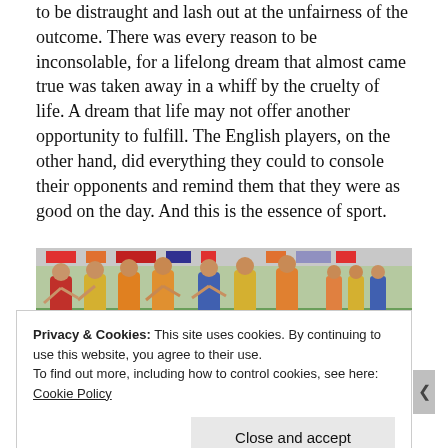to be distraught and lash out at the unfairness of the outcome. There was every reason to be inconsolable, for a lifelong dream that almost came true was taken away in a whiff by the cruelty of life. A dream that life may not offer another opportunity to fulfill. The English players, on the other hand, did everything they could to console their opponents and remind them that they were as good on the day. And this is the essence of sport.
[Figure (photo): A group of runners competing in a track race, wearing colorful singlets, on a green sports field with spectators and banners in the background.]
Privacy & Cookies: This site uses cookies. By continuing to use this website, you agree to their use.
To find out more, including how to control cookies, see here: Cookie Policy